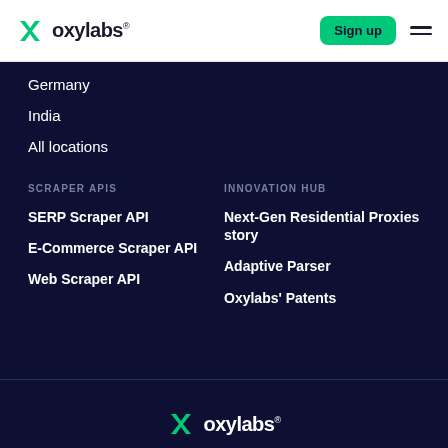oxylabs® | Sign up
Germany
India
All locations
SCRAPER APIS
SERP Scraper API
E-Commerce Scraper API
Web Scraper API
INNOVATION HUB
Next-Gen Residential Proxies story
Adaptive Parser
Oxylabs' Patents
oxylabs®